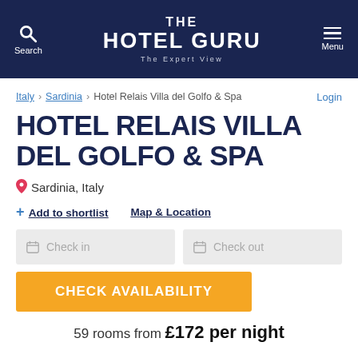THE HOTEL GURU — The Expert View
Italy > Sardinia > Hotel Relais Villa del Golfo & Spa
HOTEL RELAIS VILLA DEL GOLFO & SPA
Sardinia, Italy
Add to shortlist   Map & Location
Check in   Check out
CHECK AVAILABILITY
59 rooms from £172 per night